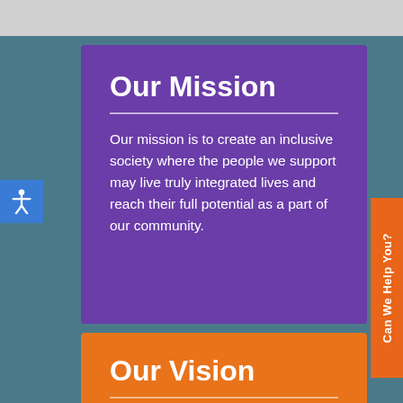Our Mission
Our mission is to create an inclusive society where the people we support may live truly integrated lives and reach their full potential as a part of our community.
Our Vision
A progressive community that welcomes diversity, fosters...
Can We Help You?